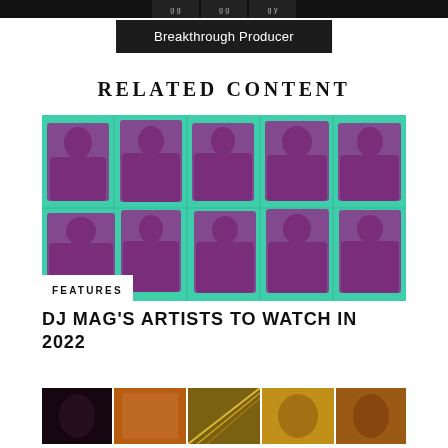Breakthrough Producer
RELATED CONTENT
[Figure (photo): Teal/green tinted collage of music artists silhouettes on green background with FEATURES label overlay]
FEATURES
DJ MAG'S ARTISTS TO WATCH IN 2022
[Figure (photo): Row of colorful panel images showing artists/performers in warm tones]